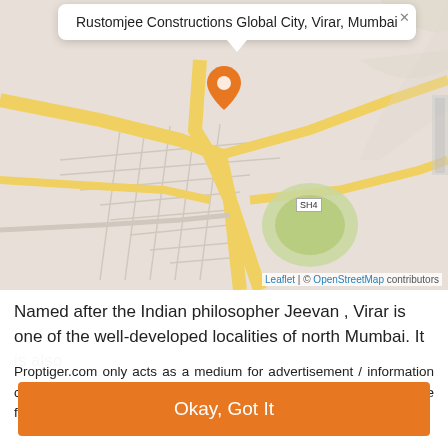[Figure (map): OpenStreetMap showing Rustomjee Constructions Global City, Virar, Mumbai with an orange map pin marker and popup tooltip. Roads shown in yellow, SH4 highway labeled. Leaflet | © OpenStreetMap contributors attribution visible.]
Named after the Indian philosopher Jeevan , Virar is one of the well-developed localities of north Mumbai. It is also
Proptiger.com only acts as a medium for advertisement / information content. We do not in any way facilitate and cannot be deemed to be facilitating any transaction between seller / devel... Read More
Okay, Got It